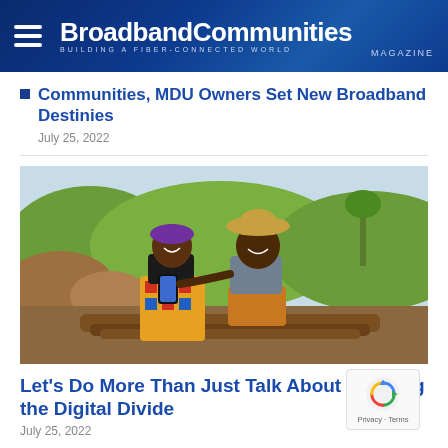BroadbandCommunities Magazine — BUILDING A FIBER-CONNECTED WORLD
Communities, MDU Owners Set New Broadband Destinies
July 25, 2022
[Figure (photo): A man and woman sitting on logs outdoors in a rural setting, smiling and looking at a smartphone together. The woman wears a colorful patterned skirt and head wrap; the man wears a hat and tank top. Green hills and soil mounds are visible in the background.]
Let's Do More Than Just Talk About Bridging the Digital Divide
July 25, 2022